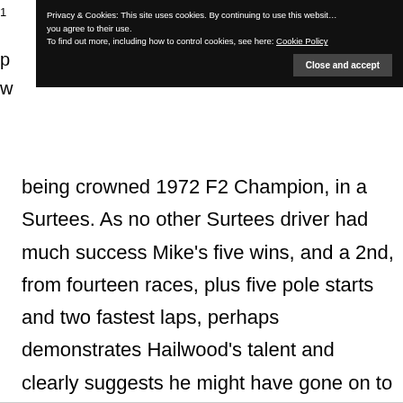1
Privacy & Cookies: This site uses cookies. By continuing to use this website you agree to their use.
To find out more, including how to control cookies, see here: Cookie Policy
Close and accept
being crowned 1972 F2 Champion, in a Surtees. As no other Surtees driver had much success Mike’s five wins, and a 2nd, from fourteen races, plus five pole starts and two fastest laps, perhaps demonstrates Hailwood’s talent and clearly suggests he might have gone on to surpass Surtees’ own record.